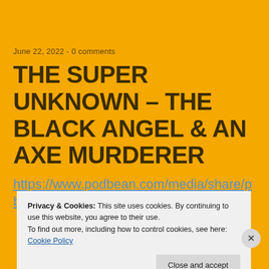June 22, 2022 - 0 comments
THE SUPER UNKNOWN – THE BLACK ANGEL & AN AXE MURDERER
https://www.podbean.com/media/share/pb-dqu2f-1257842
Privacy & Cookies: This site uses cookies. By continuing to use this website, you agree to their use.
To find out more, including how to control cookies, see here: Cookie Policy
Close and accept